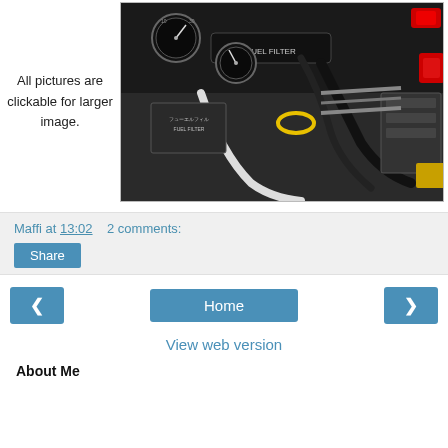All pictures are clickable for larger image.
[Figure (photo): Close-up photo of a marine or automotive engine compartment showing gauges, fuel filter labeled in Japanese (フューエルフィル FUEL FILTER), hoses, pipes, and engine components on a black instrument panel.]
Maffi at 13:02   2 comments:
Share
Home
View web version
About Me